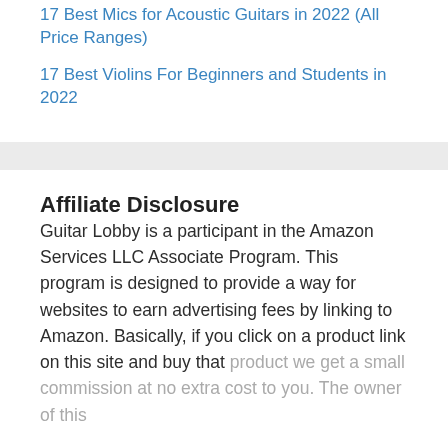17 Best Mics for Acoustic Guitars in 2022 (All Price Ranges)
17 Best Violins For Beginners and Students in 2022
Affiliate Disclosure
Guitar Lobby is a participant in the Amazon Services LLC Associate Program. This program is designed to provide a way for websites to earn advertising fees by linking to Amazon. Basically, if you click on a product link on this site and buy that product we get a small commission at no extra cost to you. The owner of this